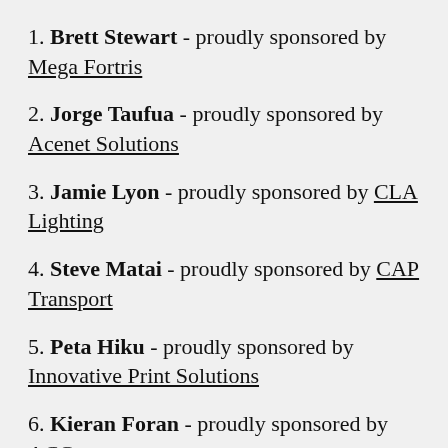1. Brett Stewart - proudly sponsored by Mega Fortris
2. Jorge Taufua - proudly sponsored by Acenet Solutions
3. Jamie Lyon - proudly sponsored by CLA Lighting
4. Steve Matai - proudly sponsored by CAP Transport
5. Peta Hiku - proudly sponsored by Innovative Print Solutions
6. Kieran Foran - proudly sponsored by ACG